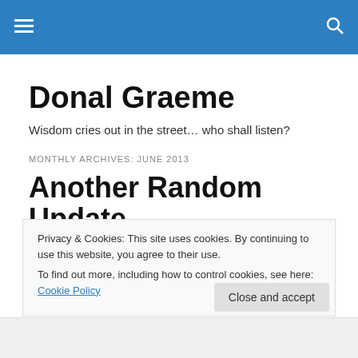≡  🔍
Donal Graeme
Wisdom cries out in the street… who shall listen?
MONTHLY ARCHIVES: JUNE 2013
Another Random Update
A quick update here on this blog and future projects
Privacy & Cookies: This site uses cookies. By continuing to use this website, you agree to their use.
To find out more, including how to control cookies, see here: Cookie Policy
Close and accept